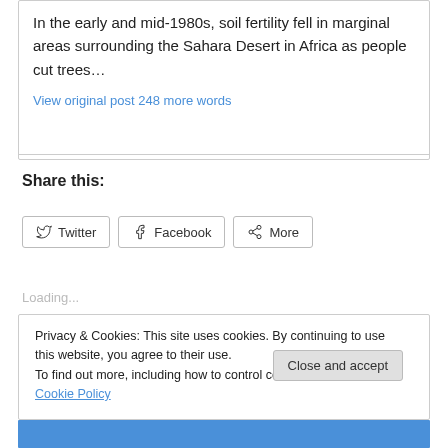In the early and mid-1980s, soil fertility fell in marginal areas surrounding the Sahara Desert in Africa as people cut trees…
View original post 248 more words
Share this:
Twitter   Facebook   More
Loading...
Privacy & Cookies: This site uses cookies. By continuing to use this website, you agree to their use.
To find out more, including how to control cookies, see here: Cookie Policy
Close and accept